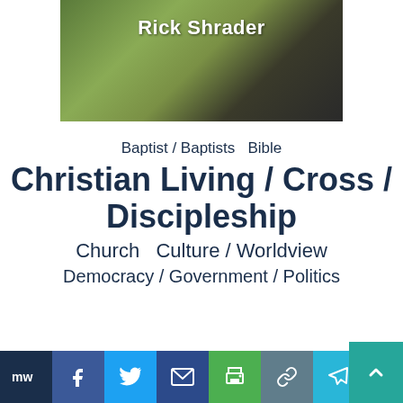[Figure (photo): Photo of Rick Shrader with floral background, name text overlay]
Baptist / Baptists  Bible
Christian Living / Cross / Discipleship
Church  Culture / Worldview
Democracy / Government / Politics
[Figure (infographic): Social share bar with icons: MW, Facebook, Twitter, Email, Print, Copy, Telegram, Reddit, Share+]